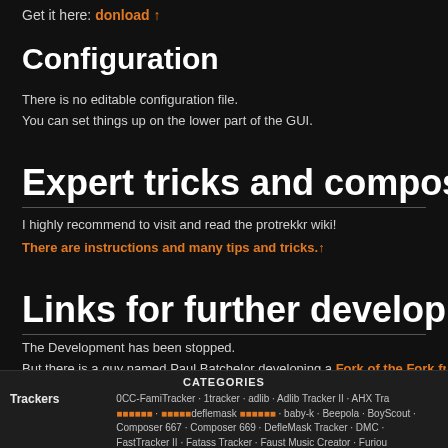Get it here: donload ↑
Configuration
There is no editable configuration file.
You can set things up on the lower part of the GUI.
Expert tricks and composing
I highly recommend to visit and read the protrekkr wiki!
There are instructions and many tips and tricks. ↑
Links for further development
The Development has been stopped.
But there is a guy named Paul Batchelor developing a Fork of the Fork from P
|  | CATEGORIES |
| --- | --- |
| Trackers | 0CC-FamiTracker · 1tracker · adlib · Adlib Tracker II · AHX Tra... · deflemask · baby-k · Beepola · BoyScout · Composer 667 · Composer 669 · DefleMask Tracker · DMC · FastTracker II · Fatass Tracker · Faust Music Creator · Furio... Game Boy Camera · GoatTracker · GrooveStep · HivelyTracke... new to Vortex Tracker · Impulse Tracker · IT Module Optimisa... Knaecketraecker · KORG DS-10 · lgpt · List of Effects Comma... LoopCart · LSDJ · M4G Tracker · maxYMiser · MilkyTracker · ProTracker · MusicMon · NerdTracker II · NesTracker · NitroT... |